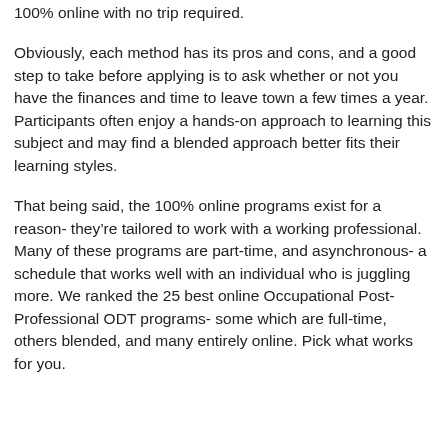100% online with no trip required.
Obviously, each method has its pros and cons, and a good step to take before applying is to ask whether or not you have the finances and time to leave town a few times a year. Participants often enjoy a hands-on approach to learning this subject and may find a blended approach better fits their learning styles.
That being said, the 100% online programs exist for a reason- they’re tailored to work with a working professional. Many of these programs are part-time, and asynchronous- a schedule that works well with an individual who is juggling more. We ranked the 25 best online Occupational Post-Professional ODT programs- some which are full-time, others blended, and many entirely online. Pick what works for you.